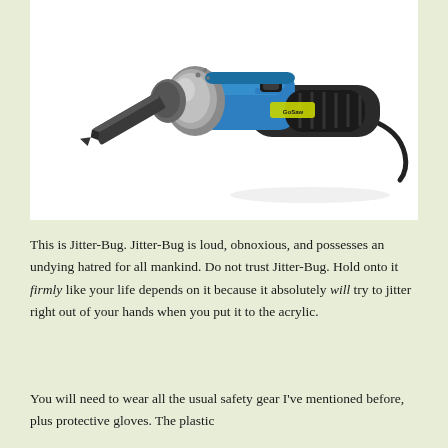[Figure (photo): A blue and black oscillating multi-tool (Jitter-Bug) shown diagonally with a blade attachment, against a white background.]
This is Jitter-Bug. Jitter-Bug is loud, obnoxious, and possesses an undying hatred for all mankind. Do not trust Jitter-Bug. Hold onto it firmly like your life depends on it because it absolutely will try to jitter right out of your hands when you put it to the acrylic.
You will need to wear all the usual safety gear I've mentioned before, plus protective gloves. The plastic